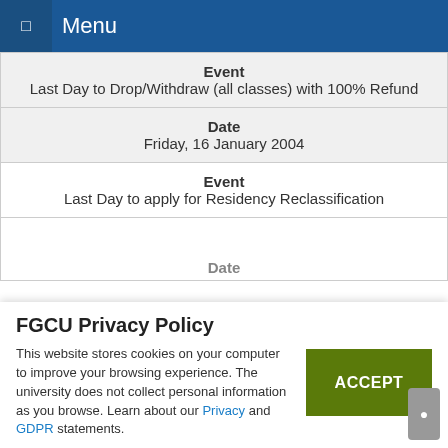Menu
| Event | Date |
| --- | --- |
| Last Day to Drop/Withdraw (all classes) with 100% Refund | Friday, 16 January 2004 |
| Last Day to apply for Residency Reclassification | Date |
FGCU Privacy Policy
This website stores cookies on your computer to improve your browsing experience. The university does not collect personal information as you browse. Learn about our Privacy and GDPR statements.